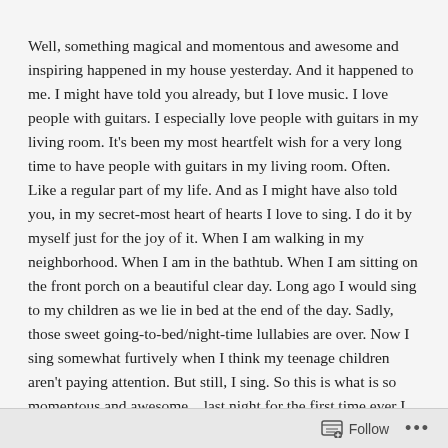Well, something magical and momentous and awesome and inspiring happened in my house yesterday. And it happened to me. I might have told you already, but I love music. I love people with guitars. I especially love people with guitars in my living room. It's been my most heartfelt wish for a very long time to have people with guitars in my living room. Often. Like a regular part of my life. And as I might have also told you, in my secret-most heart of hearts I love to sing. I do it by myself just for the joy of it. When I am walking in my neighborhood. When I am in the bathtub. When I am sitting on the front porch on a beautiful clear day. Long ago I would sing to my children as we lie in bed at the end of the day. Sadly, those sweet going-to-bed/night-time lullabies are over. Now I sing somewhat furtively when I think my teenage children aren't paying attention. But still, I sing. So this is what is so momentous and awesome... last night for the first time ever I sang out loud with other people in my living room
Follow ...